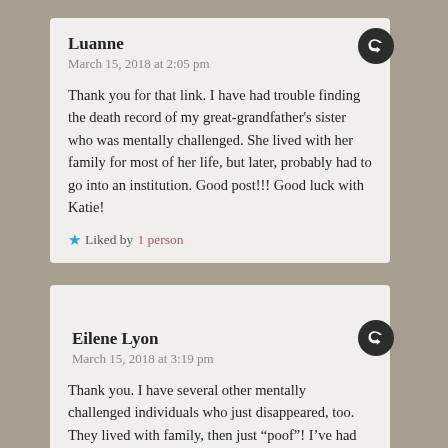Luanne
March 15, 2018 at 2:05 pm
Thank you for that link. I have had trouble finding the death record of my great-grandfather’s sister who was mentally challenged. She lived with her family for most of her life, but later, probably had to go into an institution. Good post!!! Good luck with Katie!
Liked by 1 person
Eilene Lyon
March 15, 2018 at 3:19 pm
Thank you. I have several other mentally challenged individuals who just disappeared, too. They lived with family, then just “poof”! I’ve had some luck with institutional records on occasion